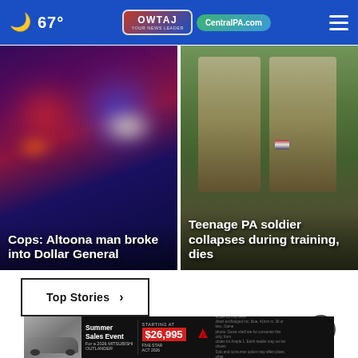🌙 67° | OWTAJ Your News Leader | CentralPA.com
[Figure (photo): Police emergency lights blurred, red and blue lights with white highlight, dark night scene]
Cops: Altoona man broke into Dollar General
[Figure (photo): Two teenage soldiers in camouflage uniforms with rifles, smiling, outdoor setting with trees]
Teenage PA soldier collapses during training, dies
Top Stories ›
[Figure (screenshot): Mitsubishi advertisement banner: Summer Sales Event, Outlander starting at $26,995, Five Star Act 2026]